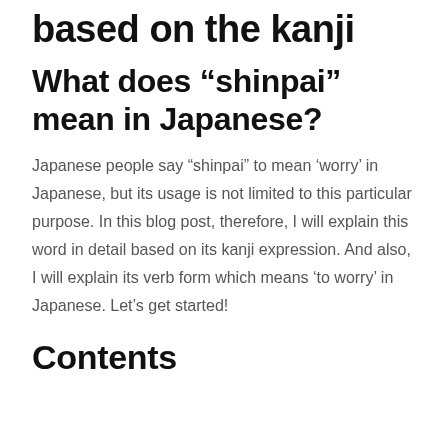based on the kanji
What does “shinpai” mean in Japanese?
Japanese people say “shinpai” to mean ‘worry’ in Japanese, but its usage is not limited to this particular purpose. In this blog post, therefore, I will explain this word in detail based on its kanji expression. And also, I will explain its verb form which means ‘to worry’ in Japanese. Let’s get started!
Contents